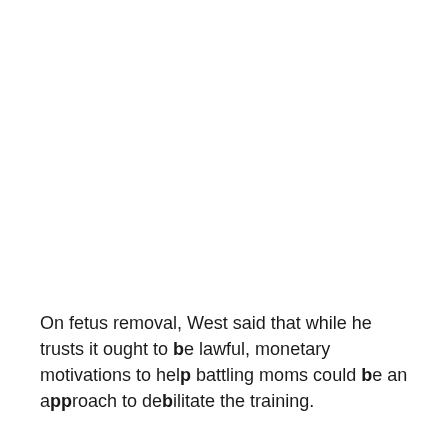On fetus removal, West said that while he trusts it ought to be lawful, monetary motivations to help battling moms could be an approach to debilitate the training.